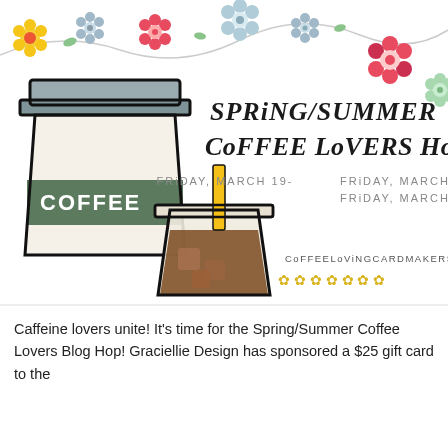[Figure (illustration): Spring/Summer Coffee Lovers Blog Hop promotional banner. Features floral border at top with yellow, red, and blue-gray flowers on a vine/string. Left side has a cartoon coffee cup illustration (takeaway cup with green band labeled COFFEE and an iced coffee cup with yellow straw). Right side has title text 'SPRING/SUMMER COFFEE LOVERS HOP', dates 'FRIDAY, MARCH 19- FRIDAY, MARCH 26 2021', website 'COFFEELOVINGCARDMAKERS.COM', and decorative small yellow flowers along the bottom.]
Caffeine lovers unite! It’s time for the Spring/Summer Coffee Lovers Blog Hop! Graciellie Design has sponsored a $25 gift card to the...